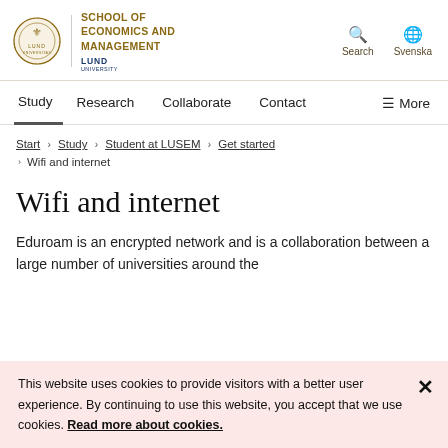[Figure (logo): Lund University seal/crest logo with School of Economics and Management text]
SCHOOL OF ECONOMICS AND MANAGEMENT | Lund University | Search | Svenska
Study   Research   Collaborate   Contact   ≡ More
Start › Study › Student at LUSEM › Get started
› Wifi and internet
Wifi and internet
Eduroam is an encrypted network and is a collaboration between a large number of universities around the world. Students from other universities that have...
This website uses cookies to provide visitors with a better user experience. By continuing to use this website, you accept that we use cookies. Read more about cookies.